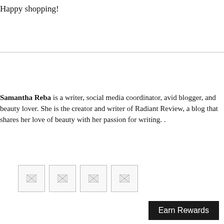Happy shopping!
Samantha Reba is a writer, social media coordinator, avid blogger, and beauty lover. She is the creator and writer of Radiant Review, a blog that shares her love of beauty with her passion for writing. .
[Figure (illustration): Four broken image placeholder icons arranged horizontally]
Earn Rewards